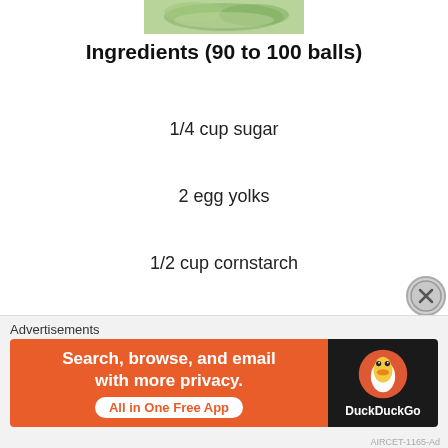[Figure (photo): Top portion of food photo, partially visible at top of page]
Ingredients (90 to 100 balls)
1/4 cup sugar
2 egg yolks
1/2 cup cornstarch
1. Preheat the oven to 320 F. Line a baking sheet with parchment paper.
[Figure (photo): Three side-by-side photos of green mixing bowl showing steps: egg yolk, adding cornstarch with whisk, mixing ingredients]
Advertisements
[Figure (screenshot): DuckDuckGo advertisement banner: 'Search, browse, and email with more privacy. All in One Free App' on orange background with DuckDuckGo duck logo on black background]